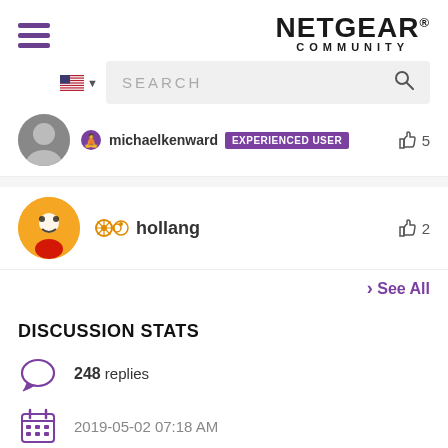[Figure (logo): NETGEAR COMMUNITY logo with hamburger menu icon]
[Figure (screenshot): Search bar with US flag and magnifier icon]
michaelkenward EXPERIENCED USER  5
hollang  2
> See All
DISCUSSION STATS
248 replies
2019-05-02 07:18 AM
37015 views